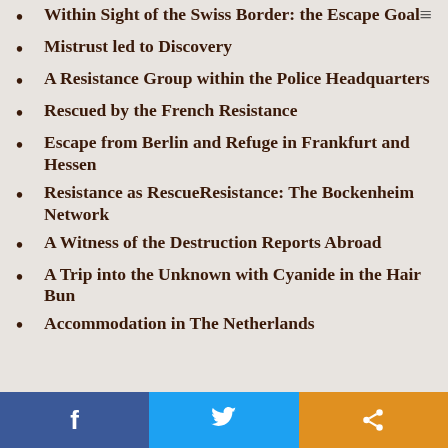Within Sight of the Swiss Border: the Escape Goal
Mistrust led to Discovery
A Resistance Group within the Police Headquarters
Rescued by the French Resistance
Escape from Berlin and Refuge in Frankfurt and Hessen
Resistance as RescueResistance: The Bockenheim Network
A Witness of the Destruction Reports Abroad
A Trip into the Unknown with Cyanide in the Hair Bun
Accommodation in The Netherlands
Facebook | Twitter | Share